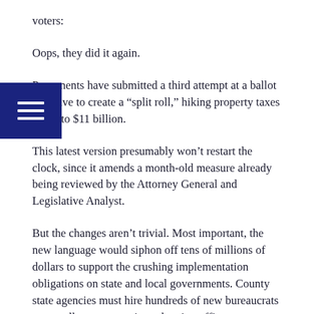voters:
Oops, they did it again.
Proponents have submitted a third attempt at a ballot initiative to create a “split roll,” hiking property taxes by up to $11 billion.
This latest version presumably won’t restart the clock, since it amends a month-old measure already being reviewed by the Attorney General and Legislative Analyst.
But the changes aren’t trivial. Most important, the new language would siphon off tens of millions of dollars to support the crushing implementation obligations on state and local governments. County state agencies must hire hundreds of new bureaucrats – tax collectors, appraisers, hearing officers, accountants and lawyers – to support the burdensome obligations newly delivered to state and local officials.
Tens of millions of dollars that will be intercepted before they can be used to hire any new school teachers, police officers or firefighters.